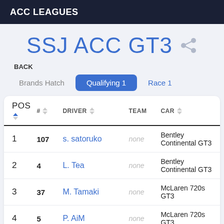ACC LEAGUES
SSJ ACC GT3
BACK
Brands Hatch   Qualifying 1   Race 1
| POS | # | DRIVER | TEAM | CAR |
| --- | --- | --- | --- | --- |
| 1 | 107 | s. satoruko | none | Bentley Continental GT3 |
| 2 | 4 | L. Tea | none | Bentley Continental GT3 |
| 3 | 37 | M. Tamaki | none | McLaren 720s GT3 |
| 4 | 5 | P. AiM | none | McLaren 720s GT3 |
| 5 | 912 | . seruno | none | Porsche 991 II GT3 R |
| 6 | 40 | H. Hati | none | Bentley Continental GT3 |
| 7 | 24 | T. Kijinami | none | McLaren 720s GT3 |